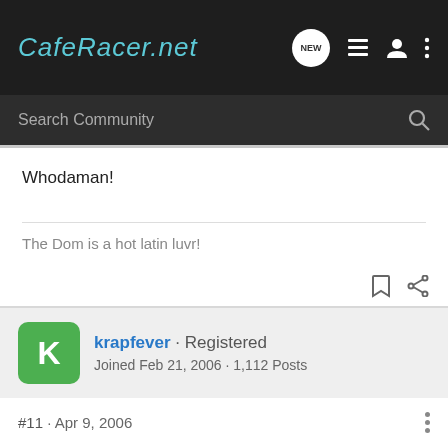CafeRacer.net
Search Community
Whodaman!
The Dom is a hot latin luvr!
krapfever · Registered
Joined Feb 21, 2006 · 1,112 Posts
#11 · Apr 9, 2006
736,